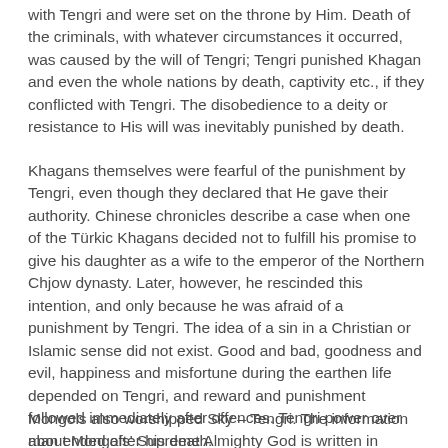with Tengri and were set on the throne by Him. Death of the criminals, with whatever circumstances it occurred, was caused by the will of Tengri; Tengri punished Khagan and even the whole nations by death, captivity etc., if they conflicted with Tengri. The disobedience to a deity or resistance to His will was inevitably punished by death.
Khagans themselves were fearful of the punishment by Tengri, even though they declared that He gave their authority. Chinese chronicles describe a case when one of the Türkic Khagans decided not to fulfill his promise to give his daughter as a wife to the emperor of the Northern Chjow dynasty. Later, however, he rescinded this intention, and only because he was afraid of a punishment by Tengri. The idea of a sin in a Christian or Islamic sense did not exist. Good and bad, goodness and evil, happiness and misfortune during the earthen life depended on Tengri, and reward and punishment followed immediately after offences. Tengri power over man ended after his death.
Mongols also worshipped Sky – Tengri. The information about Mongols' Supreme Almighty God is written in 'Secret